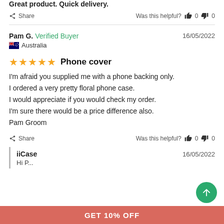Great product. Quick delivery.
Share   Was this helpful?  👍 0  👎 0
Pam G. Verified Buyer   16/05/2022
🇦🇺 Australia
★★★★★  Phone cover
I'm afraid you supplied me with a phone backing only.
I ordered a very pretty floral phone case.
I would appreciate if you would check my order.
I'm sure there would be a price difference also.
Pam Groom
Share   Was this helpful?  👍 0  👎 0
iiCase   16/05/2022
Hi P...
GET 10% OFF